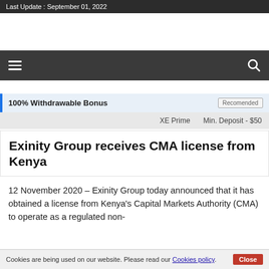Last Update : September 01, 2022
[Figure (other): Advertisement / navigation bar area with hamburger menu and search icon]
100% Withdrawable Bonus   Recomended
XE Prime   Min. Deposit - $50
Exinity Group receives CMA license from Kenya
12 November 2020 – Exinity Group today announced that it has obtained a license from Kenya's Capital Markets Authority (CMA) to operate as a regulated non-
Cookies are being used on our website. Please read our Cookies policy. Close